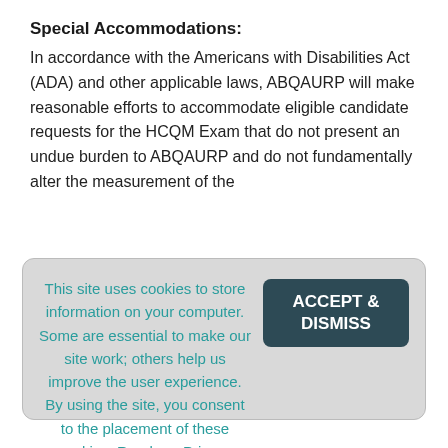Special Accommodations:
In accordance with the Americans with Disabilities Act (ADA) and other applicable laws, ABQAURP will make reasonable efforts to accommodate eligible candidate requests for the HCQM Exam that do not present an undue burden to ABQAURP and do not fundamentally alter the measurement of the
This site uses cookies to store information on your computer. Some are essential to make our site work; others help us improve the user experience. By using the site, you consent to the placement of these cookies. Read our Privacy Statement to learn more.
ACCEPT & DISMISS